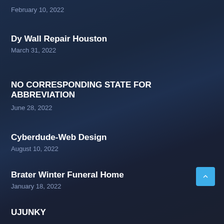February 10, 2022
Dy Wall Repair Houston
March 31, 2022
NO CORRESPONDING STATE FOR ABBREVIATION
June 28, 2022
Cyberdude-Web Design
August 10, 2022
Brater Winter Funeral Home
January 18, 2022
UJUNKY